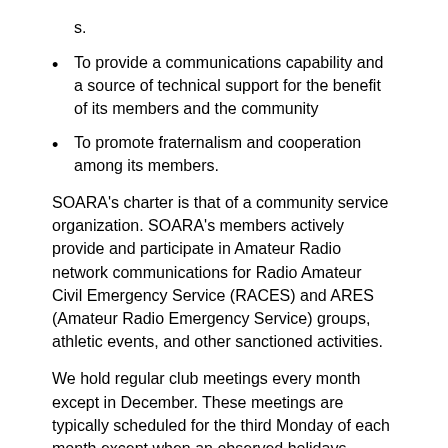s.
To provide a communications capability and a source of technical support for the benefit of its members and the community
To promote fraternalism and cooperation among its members.
SOARA's charter is that of a community service organization. SOARA's members actively provide and participate in Amateur Radio network communications for Radio Amateur Civil Emergency Service (RACES) and ARES (Amateur Radio Emergency Service) groups, athletic events, and other sanctioned activities.
We hold regular club meetings every month except in December. These meetings are typically scheduled for the third Monday of each month except when an observed holidays conflicts. The meeting schedule is published annually on the website and each newsletter. Meetings usually have a guest speaker with a radio or communications related topic. Th and November meetings feature a live auction. The meet location is at the Mission Viejo Community Center, at the Veteran's Way in Mission Viejo. The meeting time starts at 7:00